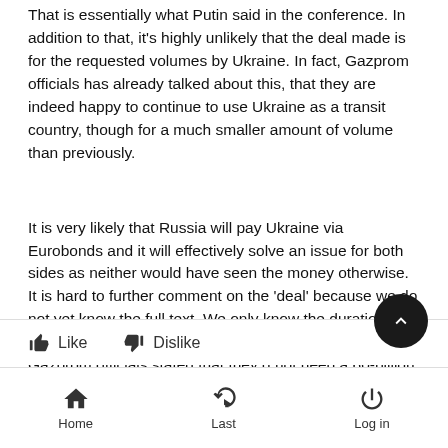That is essentially what Putin said in the conference. In addition to that, it's highly unlikely that the deal made is for the requested volumes by Ukraine. In fact, Gazprom officials has already talked about this, that they are indeed happy to continue to use Ukraine as a transit country, though for a much smaller amount of volume than previously.
It is very likely that Russia will pay Ukraine via Eurobonds and it will effectively solve an issue for both sides as neither would have seen the money otherwise. It is hard to further comment on the 'deal' because we do not yet know the full text. We only know the duration (5-year contract, Ukraine wanted 10-years) and that Gazprom officials stated that they d not need a 60-billion cubic meter / per transit deal (this is what Ukraine wanted).
Like   Dislike
Home   Last   Log in